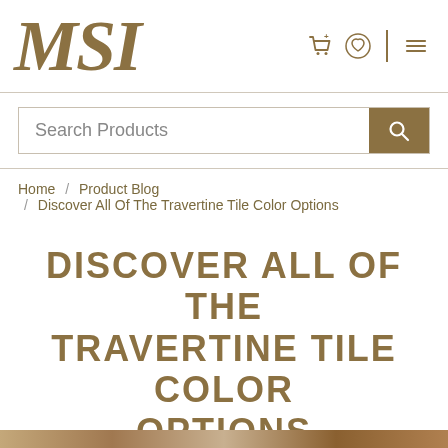MSI
Search Products
Home / Product Blog / Discover All Of The Travertine Tile Color Options
DISCOVER ALL OF THE TRAVERTINE TILE COLOR OPTIONS
MARCH 18, 2019